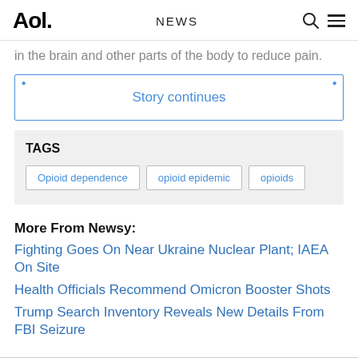Aol. NEWS
in the brain and other parts of the body to reduce pain.
Story continues
TAGS
Opioid dependence
opioid epidemic
opioids
More From Newsy:
Fighting Goes On Near Ukraine Nuclear Plant; IAEA On Site
Health Officials Recommend Omicron Booster Shots
Trump Search Inventory Reveals New Details From FBI Seizure